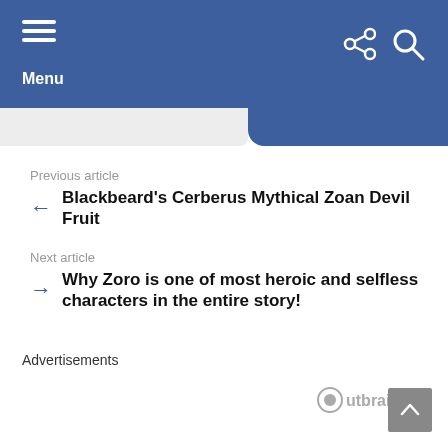[Figure (screenshot): Blue navigation header bar with hamburger menu icon and 'Menu' label on the left, share and search icons on the right]
Previous article
← Blackbeard's Cerberus Mythical Zoan Devil Fruit
Next article
→ Why Zoro is one of most heroic and selfless characters in the entire story!
Advertisements
[Figure (logo): Outbrain logo with stylized O icon and play button]
[Figure (other): Back to top button with upward arrow]